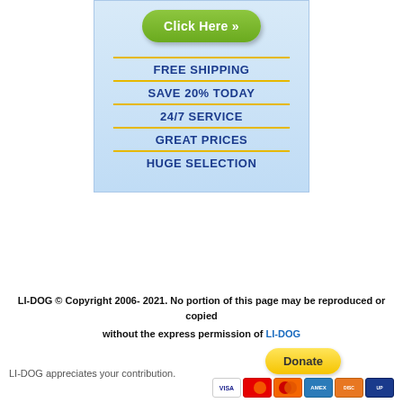[Figure (other): Advertisement banner with light blue gradient background containing a green 'Click Here »' button and a list of features: FREE SHIPPING, SAVE 20% TODAY, 24/7 SERVICE, GREAT PRICES, HUGE SELECTION, each separated by gold horizontal lines]
LI-DOG © Copyright 2006- 2021. No portion of this page may be reproduced or copied
without the express permission of LI-DOG
LI-DOG appreciates your contribution.
[Figure (other): PayPal Donate button (yellow/gold rounded rectangle) with payment icons below: VISA, Mastercard, Maestro, American Express, Discover, Union Pay]